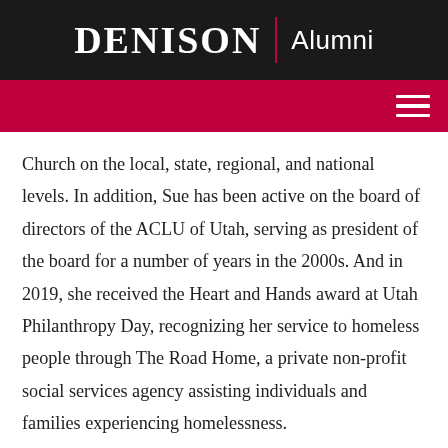DENISON | Alumni
Church on the local, state, regional, and national levels. In addition, Sue has been active on the board of directors of the ACLU of Utah, serving as president of the board for a number of years in the 2000s. And in 2019, she received the Heart and Hands award at Utah Philanthropy Day, recognizing her service to homeless people through The Road Home, a private non-profit social services agency assisting individuals and families experiencing homelessness.

After moving to Salt Lake City from Ogden in 1981, Sue continues to reside there today. She has two children